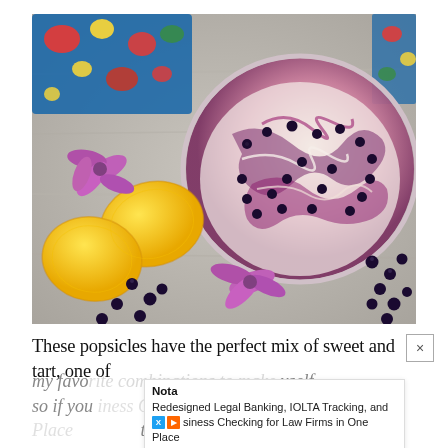[Figure (photo): Overhead shot of a round glass bowl with blueberry lemon cream mixture swirled together, surrounded by two yellow lemons, scattered fresh blueberries, and pink/purple flowers on a wooden surface with a colorful floral cloth in the background.]
These popsicles have the perfect mix of sweet and tart, one of my favorite combinations to make myself, so if you love them to add
[Figure (screenshot): Advertisement overlay from Nota: 'Redesigned Legal Banking, IOLTA Tracking, and Business Checking for Law Firms in One Place' with X and play button icons.]